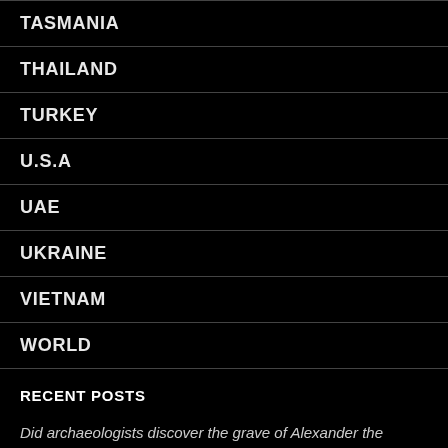TASMANIA
THAILAND
TURKEY
U.S.A
UAE
UKRAINE
VIETNAM
WORLD
RECENT POSTS
Did archaeologists discover the grave of Alexander the Great?